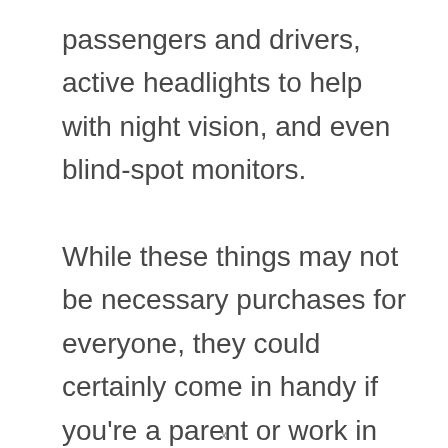passengers and drivers, active headlights to help with night vision, and even blind-spot monitors.

While these things may not be necessary purchases for everyone, they could certainly come in handy if you're a parent or work in any other industry that requires you to be on the road often
x